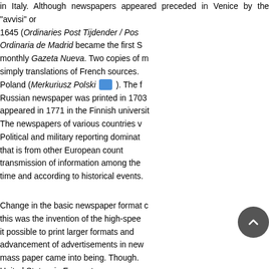in Italy. Although newspapers appeared preceded in Venice by the "avvisi" or 1645 (Ordinaries Post Tijdender / Pos Ordinaria de Madrid became the first S monthly Gazeta Nueva. Two copies of m simply translations of French sources. Poland (Merkuriusz Polski). The f Russian newspaper was printed in 1703 appeared in 1771 in the Finnish universit
The newspapers of various countries v Political and military reporting dominat that is from other European count transmission of information among the time and according to historical events.
Change in the basic newspaper format this was the invention of the high-spee it possible to print larger formats and advancement of advertisements in new mass paper came into being. Though United States, in France two newspaper Siècle, already appeared in 18 ey t of revenue, allowing the retail price to b interests were satisfied by expanding t